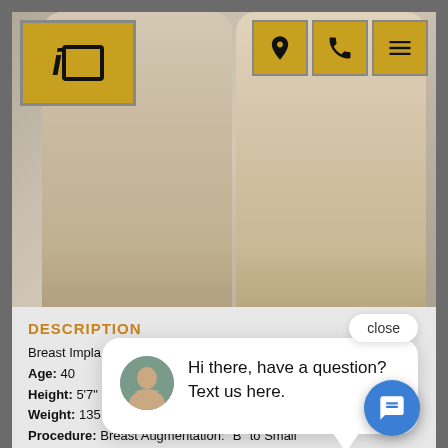[Figure (photo): Before and after side-profile anatomical illustrations showing breast augmentation results for a patient case]
DESCRIPTION
Breast Implant
Age: 40
Height: 5'7"
Weight: 135 lb
Procedure: Breast Augmentation: "B" to Small
Details for Patient # 28675
close
Hi there, have a question? Text us here.